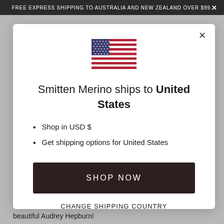FREE EXPRESS SHIPPING TO AUSTRALIA AND NEW ZEALAND OVER $99.
[Figure (illustration): US flag emoji/icon centered in modal]
Smitten Merino ships to United States
Shop in USD $
Get shipping options for United States
SHOP NOW
CHANGE SHIPPING COUNTRY
beautiful Audrey Hepburn!